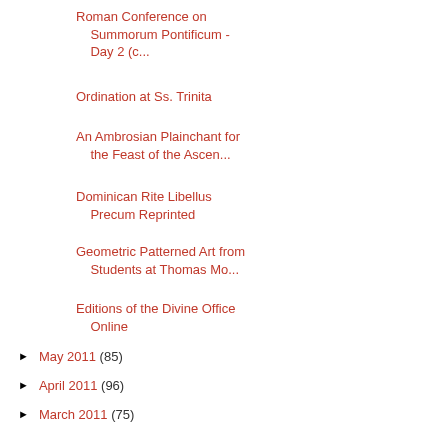Roman Conference on Summorum Pontificum - Day 2 (c...
Ordination at Ss. Trinita
An Ambrosian Plainchant for the Feast of the Ascen...
Dominican Rite Libellus Precum Reprinted
Geometric Patterned Art from Students at Thomas Mo...
Editions of the Divine Office Online
► May 2011 (85)
► April 2011 (96)
► March 2011 (75)
► February 2011 (68)
► January 2011 (73)